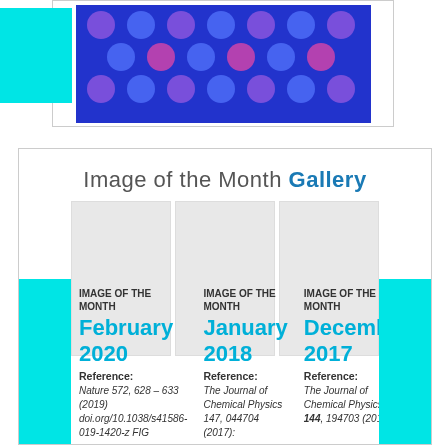[Figure (photo): Microscopy image showing hexagonal pattern of blue and purple dots on a blue background, with a cyan block overlay on the left]
Image of the Month Gallery
[Figure (photo): Three image of the month thumbnails arranged in columns (placeholders)]
IMAGE OF THE MONTH
February 2020
Reference:
Nature 572, 628 – 633 (2019) doi.org/10.1038/s41586-019-1420-z FIG
IMAGE OF THE MONTH
January 2018
Reference:
The Journal of Chemical Physics 147, 044704 (2017):
IMAGE OF THE MONTH
December 2017
Reference:
The Journal of Chemical Physics 144, 194703 (2016):